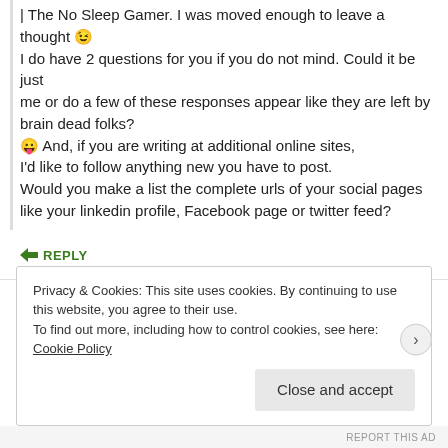| The No Sleep Gamer. I was moved enough to leave a thought 😉 I do have 2 questions for you if you do not mind. Could it be just me or do a few of these responses appear like they are left by brain dead folks? 😛 And, if you are writing at additional online sites, I'd like to follow anything new you have to post. Would you make a list the complete urls of your social pages like your linkedin profile, Facebook page or twitter feed?
↪ REPLY
Privacy & Cookies: This site uses cookies. By continuing to use this website, you agree to their use. To find out more, including how to control cookies, see here: Cookie Policy
Close and accept
REPORT THIS AD